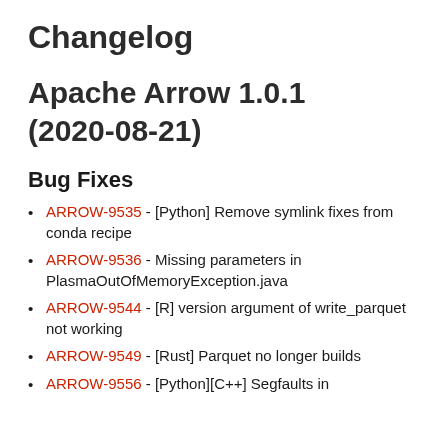Changelog
Apache Arrow 1.0.1 (2020-08-21)
Bug Fixes
ARROW-9535 - [Python] Remove symlink fixes from conda recipe
ARROW-9536 - Missing parameters in PlasmaOutOfMemoryException.java
ARROW-9544 - [R] version argument of write_parquet not working
ARROW-9549 - [Rust] Parquet no longer builds
ARROW-9556 - [Python][C++] Segfaults in